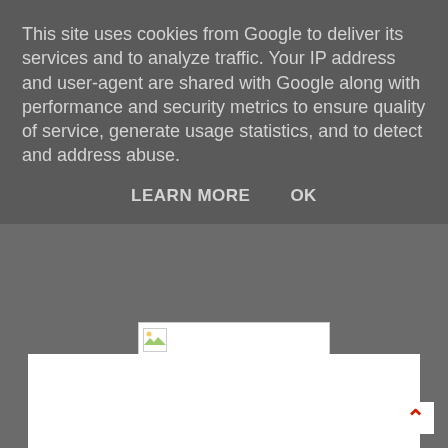This site uses cookies from Google to deliver its services and to analyze traffic. Your IP address and user-agent are shared with Google along with performance and security metrics to ensure quality of service, generate usage statistics, and to detect and address abuse.
LEARN MORE    OK
[Figure (other): Broken image placeholder with small landscape icon thumbnail, followed by a large white content area below the cookie banner overlay]